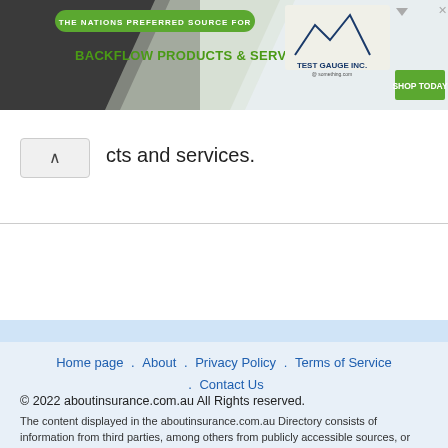[Figure (screenshot): Advertisement banner for Test Gauge Inc. - Backflow Products & Services with green Shop Today button]
cts and services.
Home page . About . Privacy Policy . Terms of Service . Contact Us
© 2022 aboutinsurance.com.au All Rights Reserved.
The content displayed in the aboutinsurance.com.au Directory consists of information from third parties, among others from publicly accessible sources, or from customers, who have a presentation page in our directory. aboutinsurance.com.au cannot be held responsible or liable for the accuracy, correctness, usefulness or reliability of the data. The brand names, logos, images and texts are the property of these third parties and their respective owners. If you have any questions or suggestions regarding this matter, you are welcome to contact our customer support team.